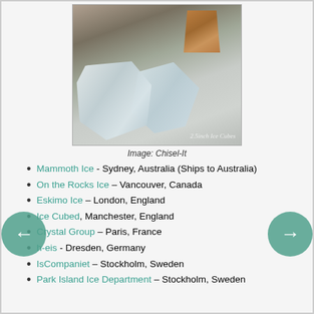[Figure (photo): Photo of large clear ice cubes next to an amber glass of whiskey on a marble surface. Watermark text reads '2.5 inch Ice Cubes'.]
Image: Chisel-It
Mammoth Ice - Sydney, Australia (Ships to Australia)
On the Rocks Ice – Vancouver, Canada
Eskimo Ice – London, England
Ice Cubed, Manchester, England
Crystal Group – Paris, France
h-eis - Dresden, Germany
IsCompaniet – Stockholm, Sweden
Park Island Ice Department – Stockholm, Sweden